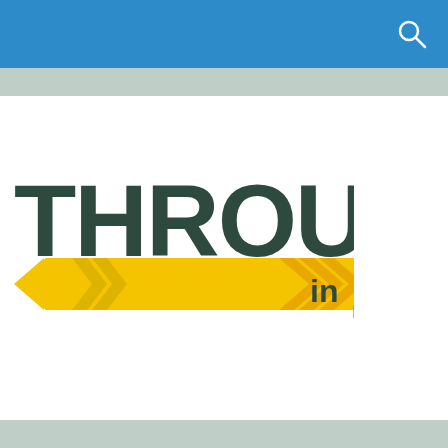[Figure (logo): Through in 2 program logo featuring bold dark green text 'THROUGH' with a yellow arrow banner running through it, chevron arrows, text 'in' in dark green/yellow, and large orange numeral '2']